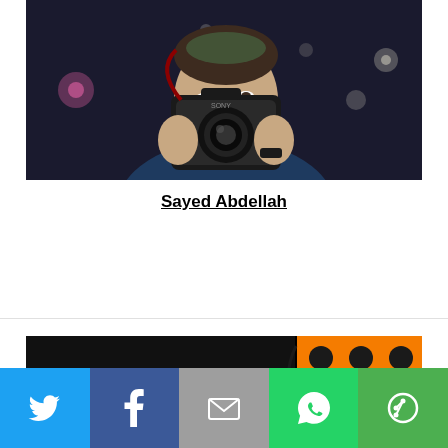[Figure (photo): Man holding a camera up to his face, smiling slightly, wearing a dark blue sweater, photographed at night with bokeh lights in the background]
Sayed Abdellah
[Figure (photo): Partial view of an orange and black graphic/banner with silhouettes of people icons]
[Figure (infographic): Social sharing bar with Twitter, Facebook, Email, WhatsApp, and More buttons]